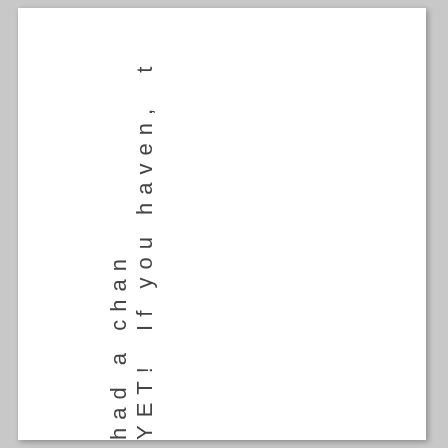YET! If you haven, t had a chan